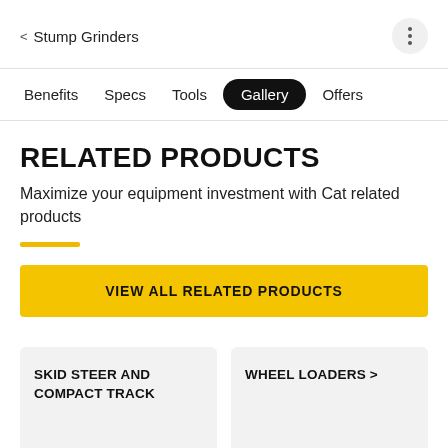< Stump Grinders
Benefits
Specs
Tools
Gallery (active)
Offers
RELATED PRODUCTS
Maximize your equipment investment with Cat related products
VIEW ALL RELATED PRODUCTS
SKID STEER AND COMPACT TRACK
WHEEL LOADERS >